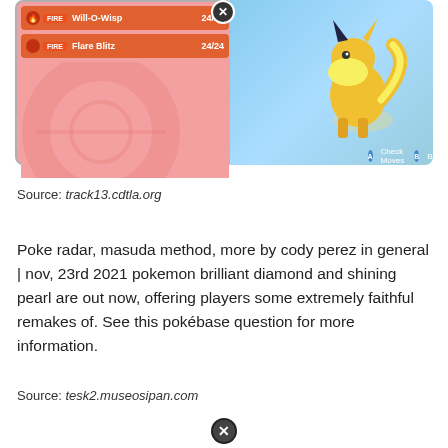[Figure (screenshot): Pokemon game screenshot showing a battle/summary screen with a Flareon. Left panel shows move list with FIRE type moves 'Will-O-Wisp 24/24' and 'Flare Blitz 24/24' on pink background with decorative pokeball circle. Right side shows Flareon on light blue background with 'Check Moves' and 'Back' buttons at bottom.]
Source: track13.cdtla.org
Poke radar, masuda method, more by cody perez in general | nov, 23rd 2021 pokemon brilliant diamond and shining pearl are out now, offering players some extremely faithful remakes of. See this pokébase question for more information.
Source: tesk2.museosipan.com
[Figure (other): Close/cancel button icon (black circle with X)]